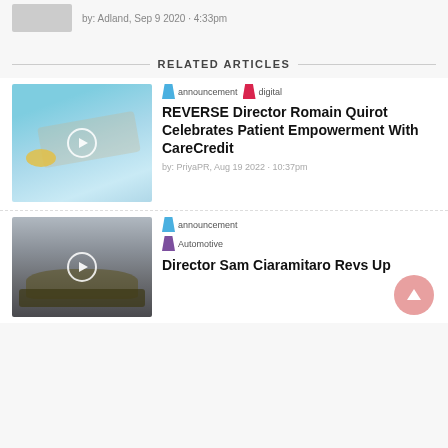by: Adland, Sep 9 2020 · 4:33pm
RELATED ARTICLES
[Figure (photo): Aerial view of people relaxing by a pool with colorful accessories]
announcement  digital
REVERSE Director Romain Quirot Celebrates Patient Empowerment With CareCredit
by: PriyaPR, Aug 19 2022 · 10:37pm
[Figure (photo): Dark olive-colored sports car on scenic road]
announcement
Automotive
Director Sam Ciaramitaro Revs Up (Corvette Authord...